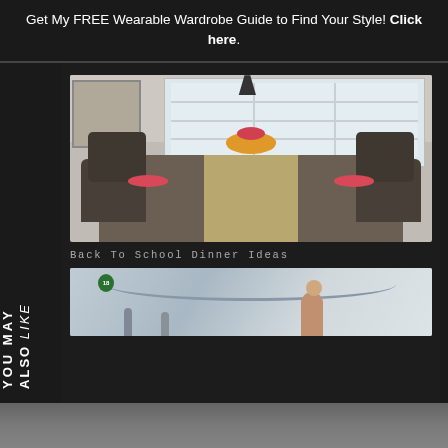Get My FREE Wearable Wardrobe Guide to Find Your Style! Click here.
[Figure (photo): A dining room with a long table set for a dinner party. Dark chairs surround the table which has a tan runner, red plates, and a floral centerpiece. Large white shuttered windows are visible in the background.]
Back To School Dinner Ideas
[Figure (photo): Partial photo showing an interior space (possibly a mall or train station) with arched ceilings, a green circular sign with number 18, and a person visible in the foreground.]
YOU MAY also LIKE